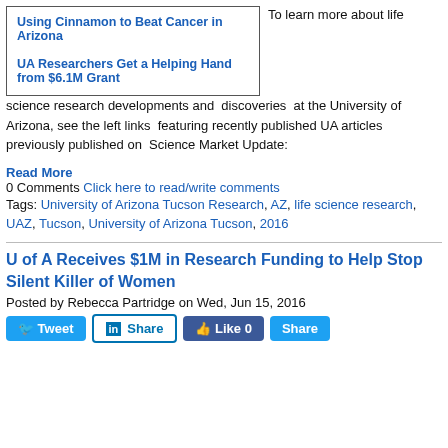[Figure (other): Box with two blue hyperlinks: 'Using Cinnamon to Beat Cancer in Arizona' and 'UA Researchers Get a Helping Hand from $6.1M Grant', alongside text starting 'To learn more about life']
To learn more about life science research developments and discoveries at the University of Arizona, see the left links featuring recently published UA articles previously published on Science Market Update:
Read More
0 Comments Click here to read/write comments
Tags: University of Arizona Tucson Research, AZ, life science research, UAZ, Tucson, University of Arizona Tucson, 2016
U of A Receives $1M in Research Funding to Help Stop Silent Killer of Women
Posted by Rebecca Partridge on Wed, Jun 15, 2016
[Figure (other): Social sharing buttons: Tweet, Share (LinkedIn), Like 0 (Facebook), Share]